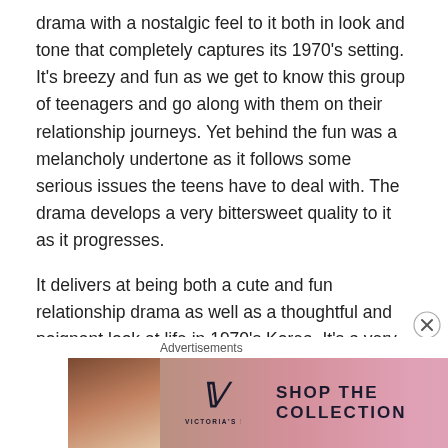drama with a nostalgic feel to it both in look and tone that completely captures its 1970's setting. It's breezy and fun as we get to know this group of teenagers and go along with them on their relationship journeys. Yet behind the fun was a melancholy undertone as it follows some serious issues the teens have to deal with. The drama develops a very bittersweet quality to it as it progresses.
It delivers at being both a cute and fun relationship drama as well as a thoughtful and poignant look at life in 1970's Korea. It's a very moving and heartfelt drama that offers a little something different. (Lingerie Girls' Generation Review)
[Figure (other): Victoria's Secret advertisement banner: pink gradient background with a woman's face on the left, Victoria's Secret logo in center-left, 'SHOP THE COLLECTION' text in dark letters, and a white 'SHOP NOW' button on the right.]